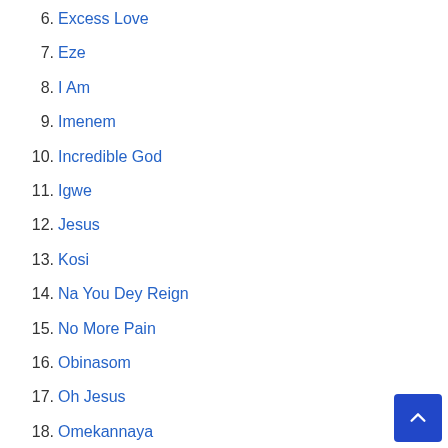6. Excess Love
7. Eze
8. I Am
9. Imenem
10. Incredible God
11. Igwe
12. Jesus
13. Kosi
14. Na You Dey Reign
15. No More Pain
16. Obinasom
17. Oh Jesus
18. Omekannaya
19. Onememma
20. Onyedikagi
21. Oyoyo Chukwu
22. Power Belongs To Jesus